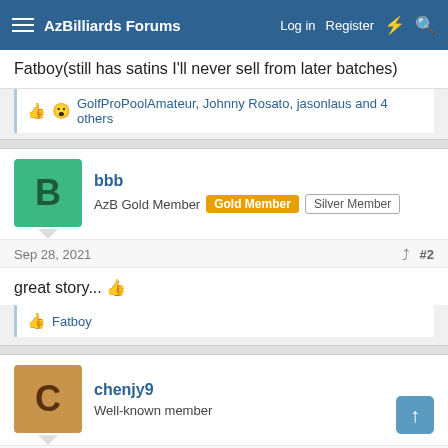AzBilliards Forums | Log in | Register
Fatboy(still has satins I'll never sell from later batches)
GolfProPoolAmateur, Johnny Rosato, jasonlaus and 4 others
bbb
AzB Gold Member | Gold Member | Silver Member
Sep 28, 2021  #2
great story... 👍
Fatboy
chenjy9
Well-known member
Sep 28, 2021  #3